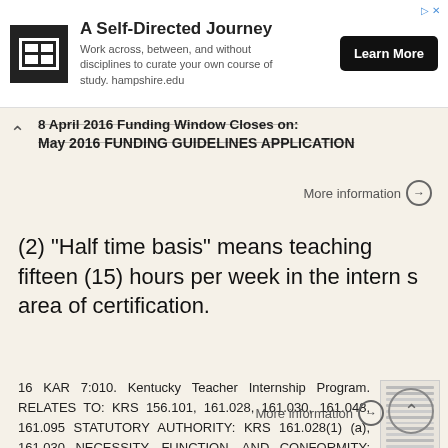[Figure (other): Advertisement banner: Hampshire College - A Self-Directed Journey with logo and Learn More button]
8 April 2016 Funding Window Closes on:
May 2016 FUNDING GUIDELINES APPLICATION
More information
(2) "Half time basis" means teaching fifteen (15) hours per week in the intern s area of certification.
16 KAR 7:010. Kentucky Teacher Internship Program. RELATES TO: KRS 156.101, 161.028, 161.030, 161.048, 161.095 STATUTORY AUTHORITY: KRS 161.028(1)(a), 161.030 NECESSITY, FUNCTION, AND CONFORMITY: KRS 161.030(5)
More information